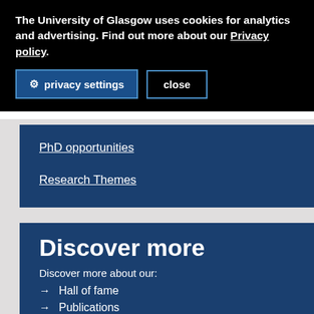The University of Glasgow uses cookies for analytics and advertising. Find out more about our Privacy policy.
privacy settings  close
PhD opportunities
Research Themes
Discover more
Discover more about our:
→  Hall of fame
→  Publications